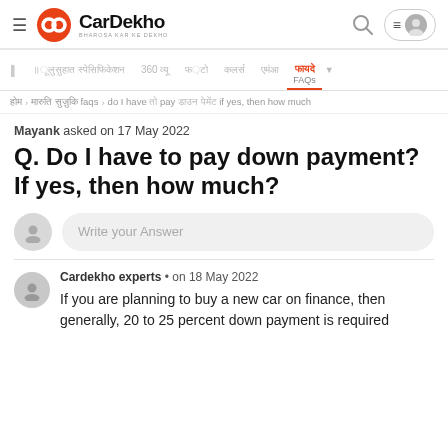CarDekho - BHAROSA KAR KE DEKHO
Navigation: 360 व्यू | फ़ोटो | कलर्स | EMI | फ़ायदे / FAQs
Breadcrumb: होम > मारुति सुजुकी faqs > do I have to pay down payment if yes, then how much
Mayank asked on 17 May 2022
Q. Do I have to pay down payment? If yes, then how much?
Write your Answer
Cardekho experts • on 18 May 2022
If you are planning to buy a new car on finance, then generally, 20 to 25 percent down payment is required